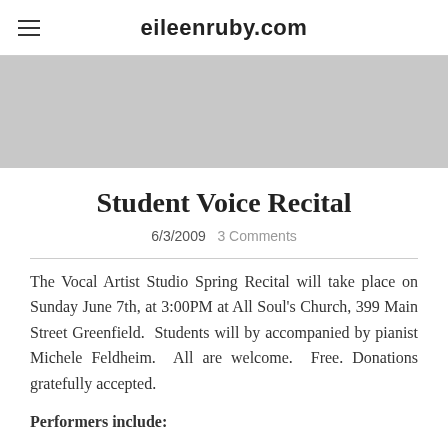eileenruby.com
[Figure (photo): Light gray banner/header image placeholder]
Student Voice Recital
6/3/2009   3 Comments
The Vocal Artist Studio Spring Recital will take place on Sunday June 7th, at 3:00PM at All Soul's Church, 399 Main Street Greenfield.  Students will by accompanied by pianist Michele Feldheim.  All are welcome.  Free. Donations gratefully accepted.
Performers include: